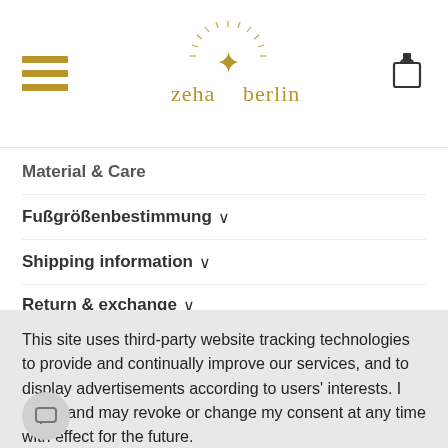zeha berlin
Material & Care
Fußgrößenbestimmung ∨
Shipping information ∨
Return & exchange ∨
This site uses third-party website tracking technologies to provide and continually improve our services, and to display advertisements according to users' interests. I agree and may revoke or change my consent at any time with effect for the future.
ACCEPT | DENY | MORE